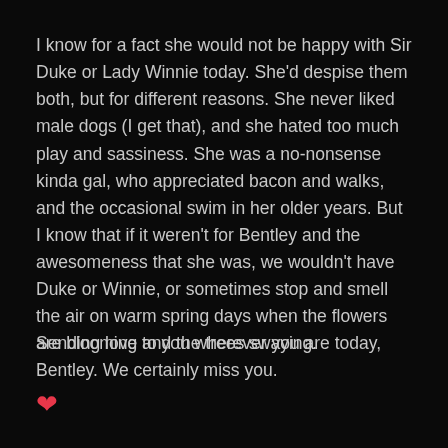I know for a fact she would not be happy with Sir Duke or Lady Winnie today. She'd despise them both, but for different reasons. She never liked male dogs (I get that), and she hated too much play and sassiness. She was a no-nonsense kinda gal, who appreciated bacon and walks, and the occasional swim in her older years. But I know that if it weren't for Bentley and the awesomeness that she was, we wouldn't have Duke or Winnie, or sometimes stop and smell the air on warm spring days when the flowers are blooming and the trees swaying.
Sending love to you wherever you are today, Bentley. We certainly miss you.
[Figure (illustration): Red heart emoji/symbol]